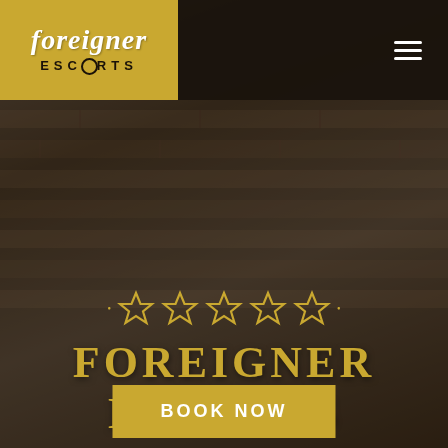[Figure (screenshot): Website screenshot for Foreigner Escorts showing dark background with a person in light clothing against a brick wall background, golden logo in top left, hamburger menu top right, five gold stars, large text 'FOREIGNER ESCORTS', and a 'BOOK NOW' button]
foreigner ESCORTS
FOREIGNER ESCORTS
BOOK NOW